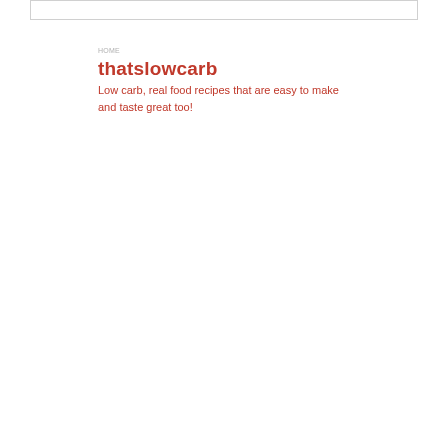thatslowcarb
Low carb, real food recipes that are easy to make and taste great too!